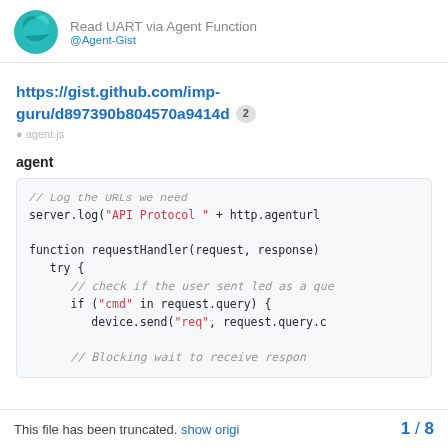Read UART via Agent Function
https://gist.github.com/imp-guru/d897390b804570a9414d 2
agent
[Figure (screenshot): Code block showing JavaScript code: // Log the URLs we need, server.log("API Protocol " + http.agenturl, function requestHandler(request, response), try {, // check if the user sent led as a que, if ("cmd" in request.query) {, device.send("req", request.query.c, // Blocking wait to receive respon]
This file has been truncated. show origi  1 / 8